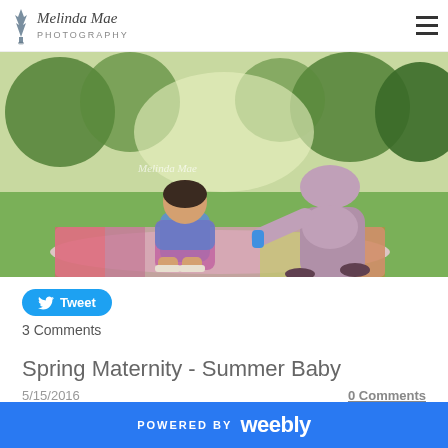Melinda Mae Photography
[Figure (photo): Outdoor maternity photo showing a pregnant woman in a mauve/lavender dress sitting on a colorful blanket in a sunny green park, with a young toddler girl in a colorful dress blowing bubbles beside her. Watermark reads Melinda Mae.]
Tweet
3 Comments
Spring Maternity - Summer Baby
5/15/2016
0 Comments
POWERED BY weebly